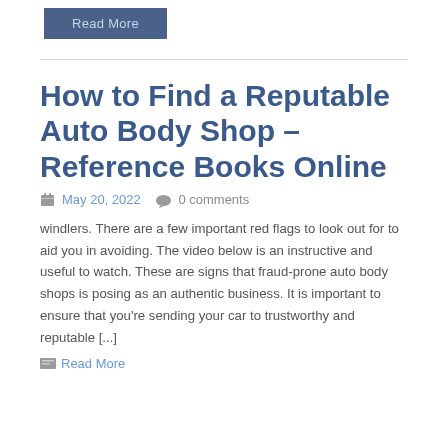Read More
How to Find a Reputable Auto Body Shop – Reference Books Online
May 20, 2022   0 comments
windlers. There are a few important red flags to look out for to aid you in avoiding. The video below is an instructive and useful to watch. These are signs that fraud-prone auto body shops is posing as an authentic business. It is important to ensure that you're sending your car to trustworthy and reputable [...]
Read More